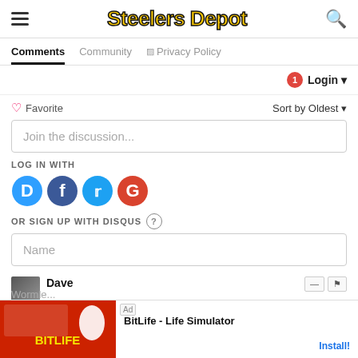Steelers Depot
Comments  Community  Privacy Policy
Login
Favorite  Sort by Oldest
Join the discussion...
LOG IN WITH
[Figure (infographic): Social login icons: Disqus (blue D), Facebook (dark blue F), Twitter (light blue bird), Google (red G)]
OR SIGN UP WITH DISQUS
Name
Dave
[Figure (infographic): Ad overlay: BitLife - Life Simulator advertisement with Install button]